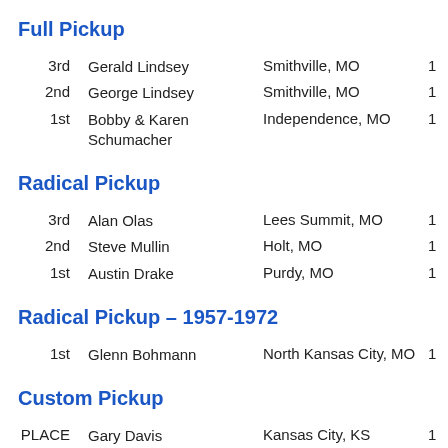Full Pickup
3rd   Gerald Lindsey   Smithville, MO   1
2nd   George Lindsey   Smithville, MO   1
1st   Bobby & Karen Schumacher   Independence, MO   1
Radical Pickup
3rd   Alan Olas   Lees Summit, MO   1
2nd   Steve Mullin   Holt, MO   1
1st   Austin Drake   Purdy, MO   1
Radical Pickup – 1957-1972
1st   Glenn Bohmann   North Kansas City, MO   1
Custom Pickup
PLACE   Gary Davis   Kansas City, KS   1